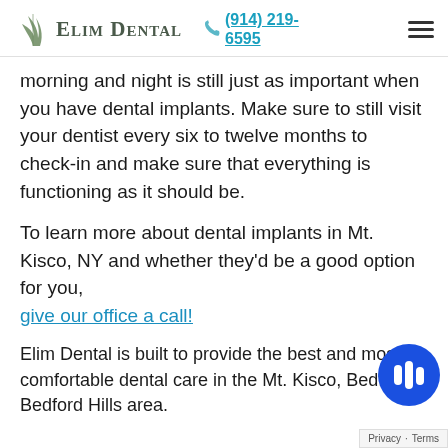Elim Dental | (914) 219-6595
morning and night is still just as important when you have dental implants. Make sure to still visit your dentist every six to twelve months to check-in and make sure that everything is functioning as it should be.
To learn more about dental implants in Mt. Kisco, NY and whether they'd be a good option for you, give our office a call!
Elim Dental is built to provide the best and most comfortable dental care in the Mt. Kisco, Bedford a...